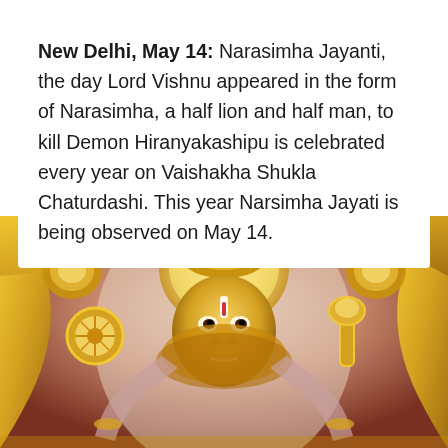New Delhi, May 14: Narasimha Jayanti, the day Lord Vishnu appeared in the form of Narasimha, a half lion and half man, to kill Demon Hiranyakashipu is celebrated every year on Vaishakha Shukla Chaturdashi. This year Narsimha Jayati is being observed on May 14.
[Figure (photo): Artistic illustration of Lord Narasimha — a deity with a golden lion head and golden crown/halo, holding divine weapons (chakra/disc on left, mace on right), set against a golden ornate arch background with pinkish-red atmosphere. The figure has multiple arms and wears jewelry.]